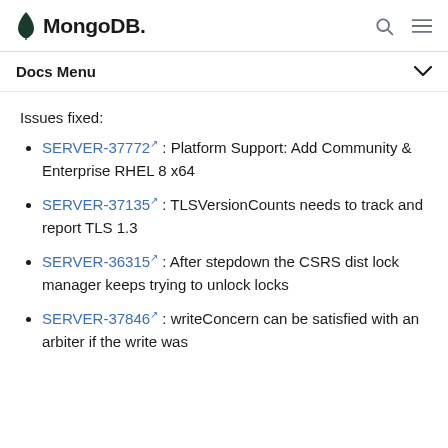MongoDB Docs Menu
Issues fixed:
SERVER-37772 : Platform Support: Add Community & Enterprise RHEL 8 x64
SERVER-37135 : TLSVersionCounts needs to track and report TLS 1.3
SERVER-36315 : After stepdown the CSRS dist lock manager keeps trying to unlock locks
SERVER-37846 : writeConcern can be satisfied with an arbiter if the write was